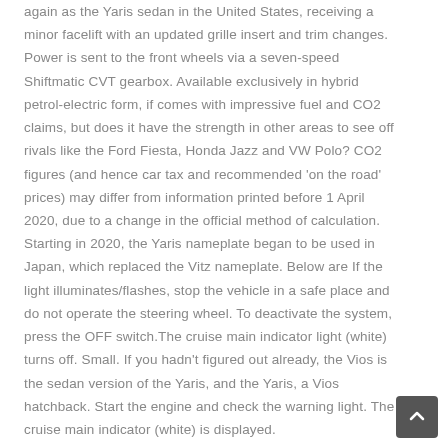again as the Yaris sedan in the United States, receiving a minor facelift with an updated grille insert and trim changes. Power is sent to the front wheels via a seven-speed Shiftmatic CVT gearbox. Available exclusively in hybrid petrol-electric form, if comes with impressive fuel and CO2 claims, but does it have the strength in other areas to see off rivals like the Ford Fiesta, Honda Jazz and VW Polo? CO2 figures (and hence car tax and recommended 'on the road' prices) may differ from information printed before 1 April 2020, due to a change in the official method of calculation. Starting in 2020, the Yaris nameplate began to be used in Japan, which replaced the Vitz nameplate. Below are If the light illuminates/flashes, stop the vehicle in a safe place and do not operate the steering wheel. To deactivate the system, press the OFF switch.The cruise main indicator light (white) turns off. Small. If you hadn't figured out already, the Vios is the sedan version of the Yaris, and the Yaris, a Vios hatchback. Start the engine and check the warning light. The cruise main indicator (white) is displayed.